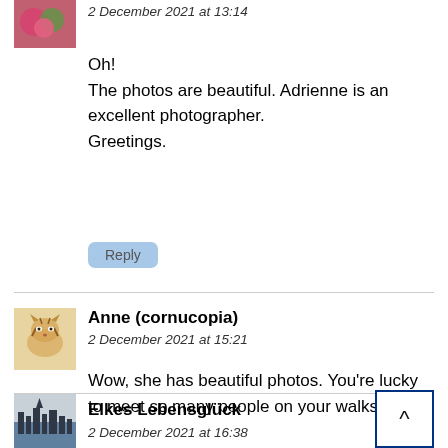2 December 2021 at 13:14
Oh!
The photos are beautiful. Adrienne is an excellent photographer.
Greetings.
Reply
Anne (cornucopia)
2 December 2021 at 15:21
Wow, she has beautiful photos. You're lucky to meet so many people on your walks.
Reply
Elkes Lebensglück
2 December 2021 at 16:38